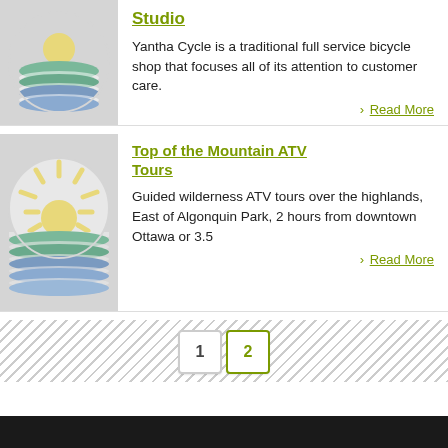[Figure (illustration): Circular landscape logo with yellow sun, green and blue wave stripes on grey background]
Studio
Yantha Cycle is a traditional full service bicycle shop that focuses all of its attention to customer care.
› Read More
[Figure (illustration): Circular landscape logo with large yellow sun and rays, green and blue wave stripes on grey background]
Top of the Mountain ATV Tours
Guided wilderness ATV tours over the highlands, East of Algonquin Park, 2 hours from downtown Ottawa or 3.5
› Read More
1  2